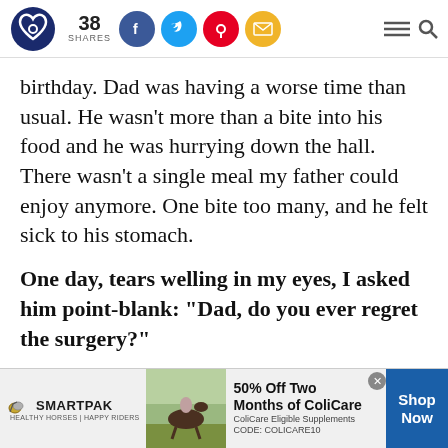38 SHARES — social sharing bar with Facebook, Twitter, Pinterest, Email icons, plus hamburger menu and search
birthday. Dad was having a worse time than usual. He wasn't more than a bite into his food and he was hurrying down the hall. There wasn't a single meal my father could enjoy anymore. One bite too many, and he felt sick to his stomach.
One day, tears welling in my eyes, I asked him point-blank: "Dad, do you ever regret the surgery?"
[Figure (infographic): SmartPak advertisement banner: logo, horse and rider photo, '50% Off Two Months of ColiCare' offer with CODE: COLICARE10, Shop Now button]